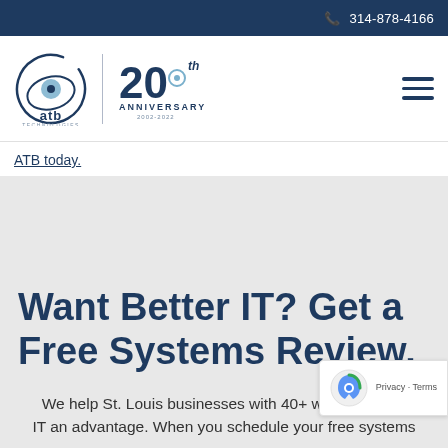📞 314-878-4166
[Figure (logo): ATB Technologies logo with circular swirl graphic and 20th Anniversary badge (2002-2022), plus hamburger menu icon on right]
ATB today.
Want Better IT? Get a Free Systems Review.
We help St. Louis businesses with 40+ workstations t... IT an advantage. When you schedule your free systems